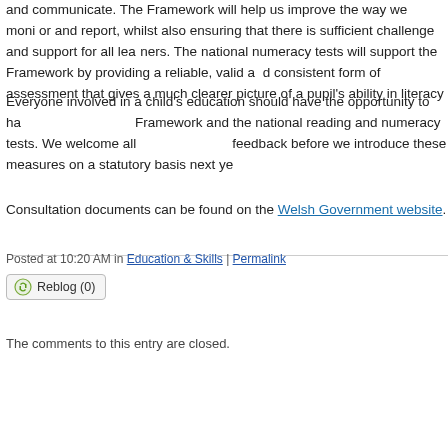and communicate. The Framework will help us improve the way we monitor and report, whilst also ensuring that there is sufficient challenge and support for all learners. The national numeracy tests will support the Framework by providing a reliable, valid and consistent form of assessment that gives a much clearer picture of a pupil's ability in literacy and numeracy.
Everyone involved in a child's education should have the opportunity to have their say on the Framework and the national reading and numeracy tests. We welcome all comments and feedback before we introduce these measures on a statutory basis next year.
Consultation documents can be found on the Welsh Government website.
Posted at 10:20 AM in Education & Skills | Permalink
Reblog (0)
The comments to this entry are closed.